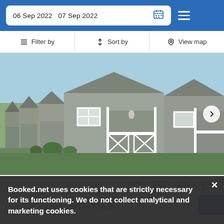06 Sep 2022  07 Sep 2022
Filter by  |  Sort by  |  View map
[Figure (photo): Exterior photo of a row of grey wooden cottages/chalets with white railings, porches and pitched roofs, under a blue sky.]
5 adults • 2 bedrooms • 3 beds
Booked.net uses cookies that are strictly necessary for its functioning. We do not collect analytical and marketing cookies.